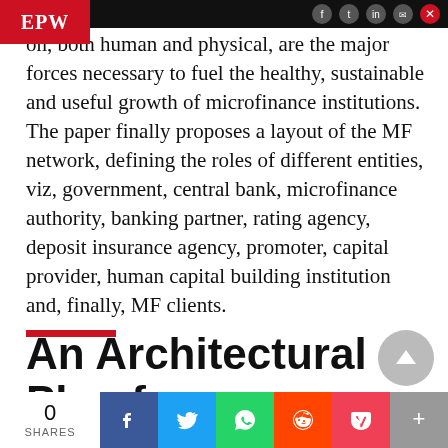EPW
on, both human and physical, are the major forces necessary to fuel the healthy, sustainable and useful growth of microfinance institutions. The paper finally proposes a layout of the MF network, defining the roles of different entities, viz, government, central bank, microfinance authority, banking partner, rating agency, deposit insurance agency, promoter, capital provider, human capital building institution and, finally, MF clients.
An Architectural Plan for a
0 SHARES